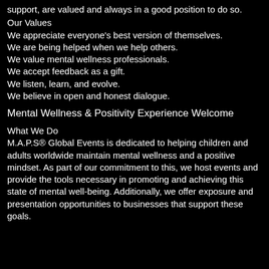support, are valued and always in a good position to do so.
Our Values
We appreciate everyone's best version of themselves.
We are being helped when we help others.
We value mental wellness professionals.
We accept feedback as a gift.
We listen, learn, and evolve.
We believe in open and honest dialogue.
Mental Wellness & Positivity Experience Welcome
What We Do
M.A.P.S® Global Events is dedicated to helping children and adults worldwide maintain mental wellness and a positive mindset. As part of our commitment to this, we host events and provide the tools necessary in promoting and achieving this state of mental well-being. Additionally, we offer exposure and presentation opportunities to businesses that support these goals.